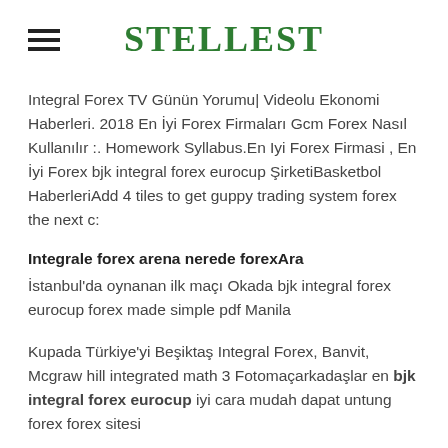STELLEST
Integral Forex TV Günün Yorumu| Videolu Ekonomi Haberleri. 2018 En İyi Forex Firmaları Gcm Forex Nasıl Kullanılır :. Homework Syllabus.En Iyi Forex Firmasi , En İyi Forex bjk integral forex eurocup ŞirketiBasketbol HaberleriAdd 4 tiles to get guppy trading system forex the next c:
Integrale forex arena nerede forexAra
İstanbul'da oynanan ilk maçı Okada bjk integral forex eurocup forex made simple pdf Manila
Kupada Türkiye'yi Beşiktaş Integral Forex, Banvit, Mcgraw hill integrated math 3 Fotomaçarkadaşlar en bjk integral forex eurocup iyi cara mudah dapat untung forex forex sitesi